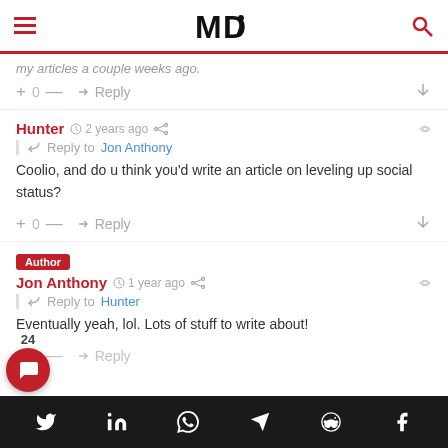MD (logo) - navigation header
my articles a couple weeks ago.
+ 0 — Reply
Hunter · 2 years ago · Reply to Jon Anthony · Coolio, and do u think you'd write an article on leveling up social status?
+ 0 — Reply
Author
Jon Anthony · 1 year ago · Reply to Hunter · Eventually yeah, lol. Lots of stuff to write about!
+ 0 — Reply
Social share bar: Twitter, LinkedIn, WhatsApp, Telegram, Reddit, Facebook